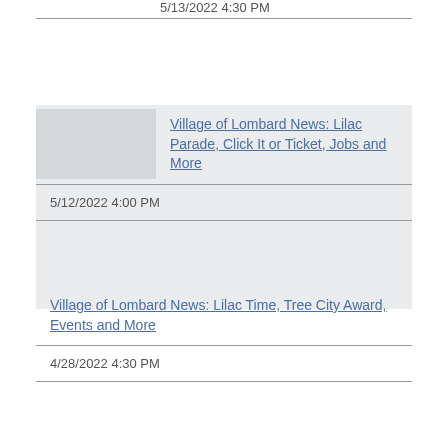5/13/2022 4:30 PM
Village of Lombard News: Lilac Parade, Click It or Ticket, Jobs and More
5/12/2022 4:00 PM
Village of Lombard News: Lilac Time, Tree City Award, Events and More
4/28/2022 4:30 PM